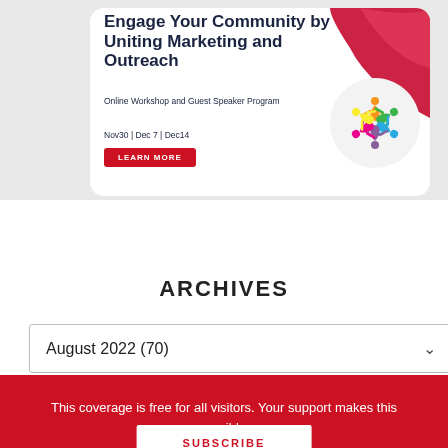[Figure (infographic): Advertisement banner: 'Engage Your Community by Uniting Marketing and Outreach' Online Workshop and Guest Speaker Program, Nov30 | Dec 7 | Dec14, with LEARN MORE button and colorful community logo]
ARCHIVES
August 2022  (70)
This coverage is free for all visitors. Your support makes this possible.
SUBSCRIBE